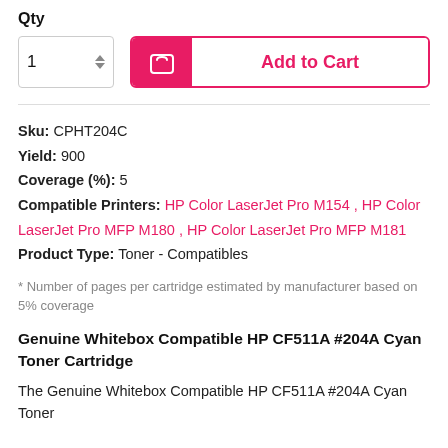Qty
[Figure (other): Quantity selector showing '1' with up/down arrows, and an 'Add to Cart' button with pink shopping bag icon on the left and pink 'Add to Cart' text on the right]
Sku: CPHT204C
Yield: 900
Coverage (%): 5
Compatible Printers: HP Color LaserJet Pro M154 , HP Color LaserJet Pro MFP M180 , HP Color LaserJet Pro MFP M181
Product Type: Toner - Compatibles
* Number of pages per cartridge estimated by manufacturer based on 5% coverage
Genuine Whitebox Compatible HP CF511A #204A Cyan Toner Cartridge
The Genuine Whitebox Compatible HP CF511A #204A Cyan Toner